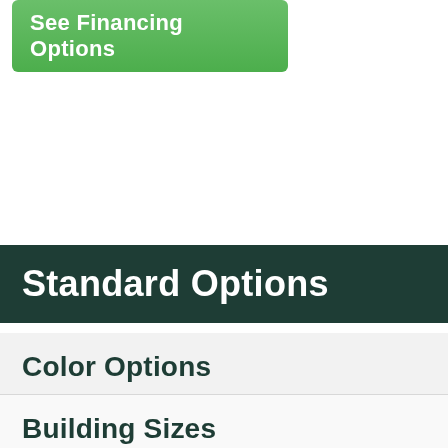See Financing Options
Standard Options
Color Options
Building Sizes